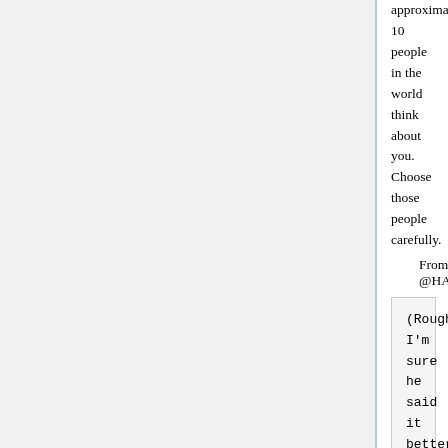approximately 10 people in the world think about you. Choose those people carefully.
From @HASilverglate
(Roughly. I'm sure he said it better)
Sowell, Thomas
"We seem to be getting closer and closer to a situation where nobody is responsible for what they did but we are all responsible for what somebody else did."
Spurgeon
"There is something very comforting in the thought that Satan is an